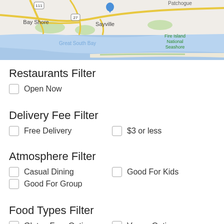[Figure (map): Google Maps view showing Bay Shore, Sayville, Great South Bay, Fire Island National Seashore, with roads and water bodies visible. Route 111 and Route 27 labels visible.]
Restaurants Filter
Open Now
Delivery Fee Filter
Free Delivery
$3 or less
Atmosphere Filter
Casual Dining
Good For Kids
Good For Group
Food Types Filter
Gluten Free Options
Vegan Options